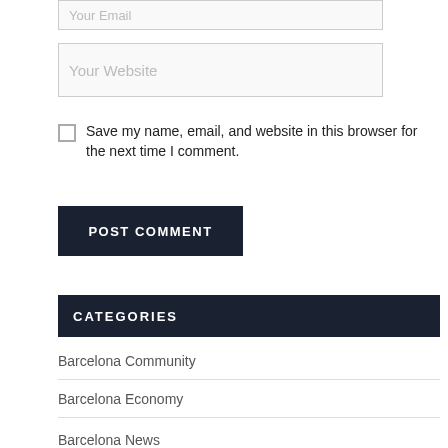Your Email
Your Website
Save my name, email, and website in this browser for the next time I comment.
POST COMMENT
CATEGORIES
Barcelona Community
Barcelona Economy
Barcelona News